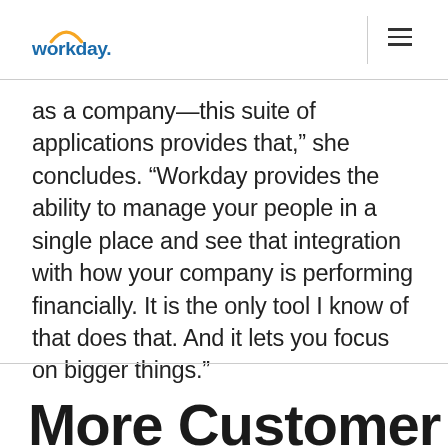workday
as a company—this suite of applications provides that,” she concludes. “Workday provides the ability to manage your people in a single place and see that integration with how your company is performing financially. It is the only tool I know of that does that. And it lets you focus on bigger things.”
More Customer Stori...